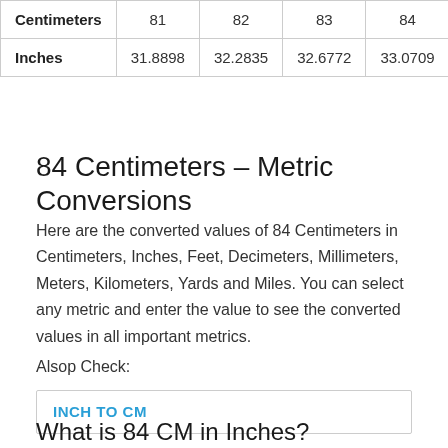|  | 81 | 82 | 83 | 84 | 85 |
| --- | --- | --- | --- | --- | --- |
| Centimeters | 81 | 82 | 83 | 84 | 85 |
| Inches | 31.8898 | 32.2835 | 32.6772 | 33.0709 | 33.4 |
84 Centimeters – Metric Conversions
Here are the converted values of 84 Centimeters in Centimeters, Inches, Feet, Decimeters, Millimeters, Meters, Kilometers, Yards and Miles. You can select any metric and enter the value to see the converted values in all important metrics.
Alsop Check:
INCH TO CM
What is 84 CM in Inches?